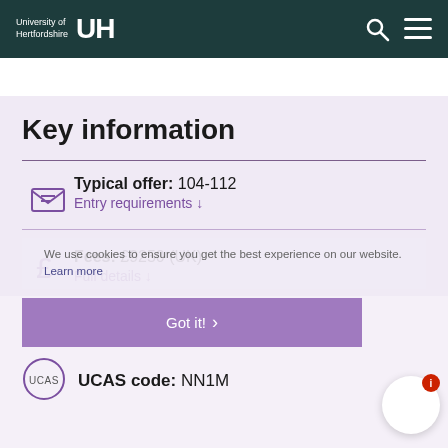University of Hertfordshire UH
Key information
Typical offer: 104-112
Entry requirements ↓
We use cookies to ensure you get the best experience on our website. Learn more
Fees: £9250 (UK)
Full details ↓
Got it! >
UCAS code: NN1M